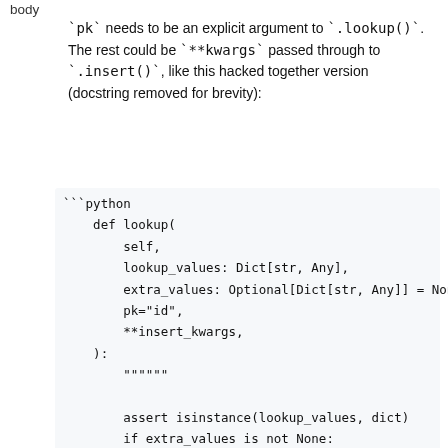body
`pk` needs to be an explicit argument to `.lookup()`. The rest could be `**kwargs` passed through to `.insert()`, like this hacked together version (docstring removed for brevity):
```python
    def lookup(
        self,
        lookup_values: Dict[str, Any],
        extra_values: Optional[Dict[str, Any]] = None,
        pk="id",
        **insert_kwargs,
    ):
        """"""

        assert isinstance(lookup_values, dict)
        if extra_values is not None:
            assert isinstance(extra_values, dict)
        combined_values = dict(lookup_values)